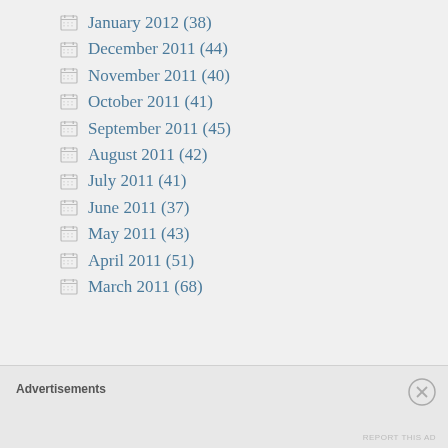January 2012 (38)
December 2011 (44)
November 2011 (40)
October 2011 (41)
September 2011 (45)
August 2011 (42)
July 2011 (41)
June 2011 (37)
May 2011 (43)
April 2011 (51)
March 2011 (68)
Advertisements